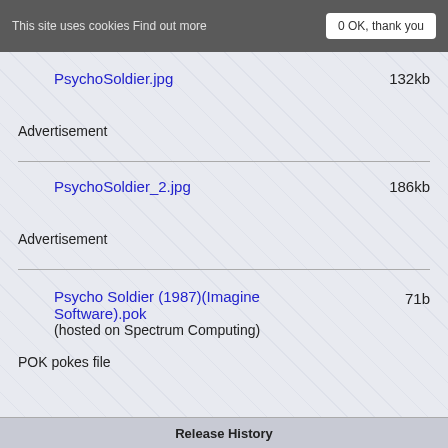This site uses cookies Find out more   0 OK, thank you
PsychoSoldier.jpg   132kb
Advertisement
PsychoSoldier_2.jpg   186kb
Advertisement
Psycho Soldier (1987)(Imagine Software).pok (hosted on Spectrum Computing)   71b
POK pokes file
Release History